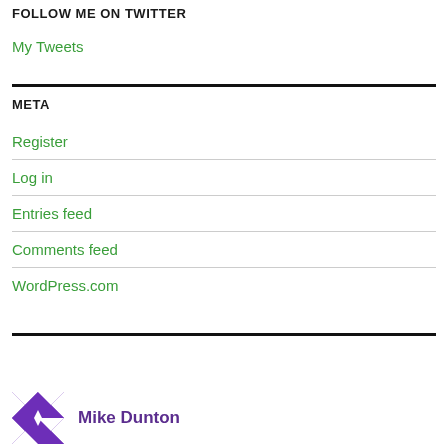FOLLOW ME ON TWITTER
My Tweets
META
Register
Log in
Entries feed
Comments feed
WordPress.com
Mike Dunton